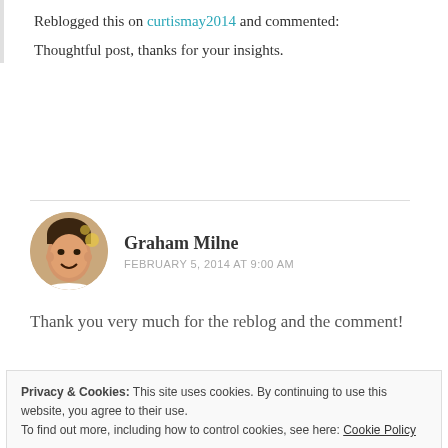Reblogged this on curtismay2014 and commented:
Thoughtful post, thanks for your insights.
Graham Milne
FEBRUARY 5, 2014 AT 9:00 AM
Thank you very much for the reblog and the comment!
Privacy & Cookies: This site uses cookies. By continuing to use this website, you agree to their use.
To find out more, including how to control cookies, see here: Cookie Policy
Close and accept